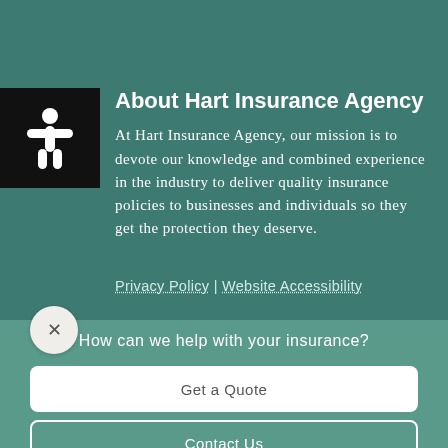About Hart Insurance Agency
At Hart Insurance Agency, our mission is to devote our knowledge and combined experience in the industry to deliver quality insurance policies to businesses and individuals so they get the protection they deserve.
Privacy Policy | Website Accessibility
How can we help with your insurance?
Get a Quote
Contact Us